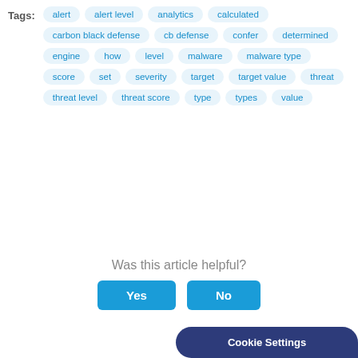Tags: alert  alert level  analytics  calculated  carbon black defense  cb defense  confer  determined  engine  how  level  malware  malware type  score  set  severity  target  target value  threat  threat level  threat score  type  types  value
Was this article helpful?
Yes
No
Cookie Settings